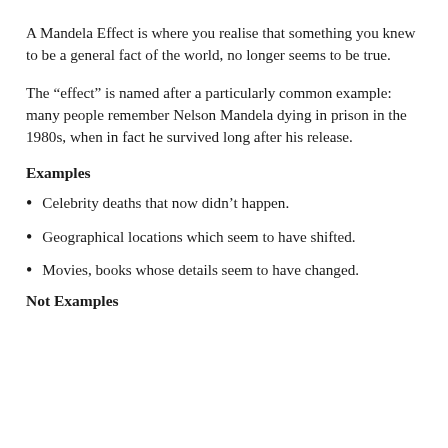A Mandela Effect is where you realise that something you knew to be a general fact of the world, no longer seems to be true.
The “effect” is named after a particularly common example: many people remember Nelson Mandela dying in prison in the 1980s, when in fact he survived long after his release.
Examples
Celebrity deaths that now didn’t happen.
Geographical locations which seem to have shifted.
Movies, books whose details seem to have changed.
Not Examples